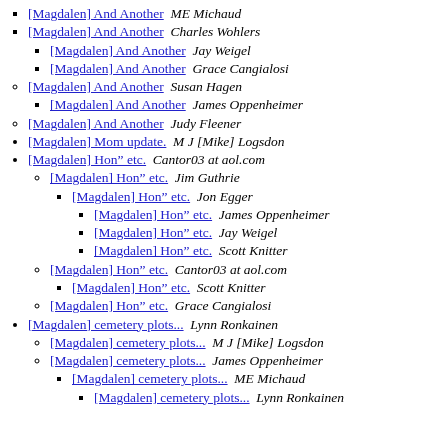[Magdalen] And Another  ME Michaud
[Magdalen] And Another  Charles Wohlers
[Magdalen] And Another  Jay Weigel
[Magdalen] And Another  Grace Cangialosi
[Magdalen] And Another  Susan Hagen
[Magdalen] And Another  James Oppenheimer
[Magdalen] And Another  Judy Fleener
[Magdalen] Mom update.  M J [Mike] Logsdon
[Magdalen] Hon” etc.  Cantor03 at aol.com
[Magdalen] Hon” etc.  Jim Guthrie
[Magdalen] Hon” etc.  Jon Egger
[Magdalen] Hon” etc.  James Oppenheimer
[Magdalen] Hon” etc.  Jay Weigel
[Magdalen] Hon” etc.  Scott Knitter
[Magdalen] Hon” etc.  Cantor03 at aol.com
[Magdalen] Hon” etc.  Scott Knitter
[Magdalen] Hon” etc.  Grace Cangialosi
[Magdalen] cemetery plots...  Lynn Ronkainen
[Magdalen] cemetery plots...  M J [Mike] Logsdon
[Magdalen] cemetery plots...  James Oppenheimer
[Magdalen] cemetery plots...  ME Michaud
[Magdalen] cemetery plots...  Lynn Ronkainen